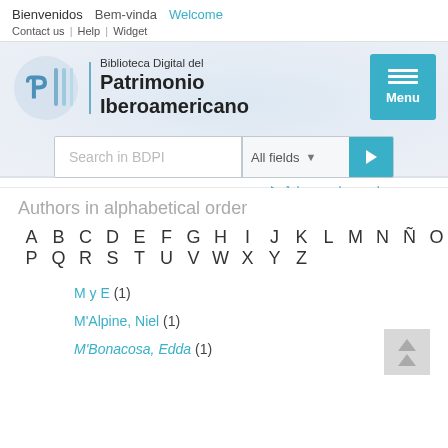Bienvenidos  Bem-vinda  Welcome
Contact us | Help | Widget
Biblioteca Digital del Patrimonio Iberoamericano
[Figure (logo): BDPI logo with circular emblem and vertical lines, alongside text 'Biblioteca Digital del Patrimonio Iberoamericano' and a teal Menu button]
Search in BDPI  All fields  →  ▶ Advanced search
Authors in alphabetical order
A B C D E F G H I J K L M N Ñ O P Q R S T U V W X Y Z
M y E (1)
M'Alpine, Niel (1)
M'Bonacosa, Edda (1)